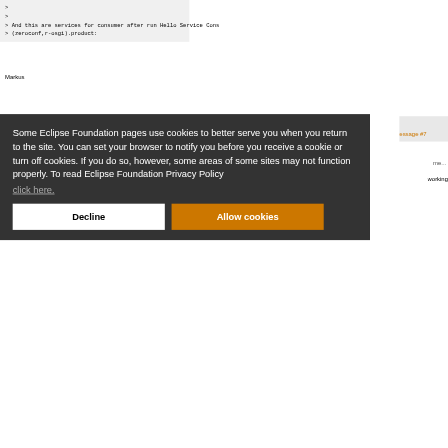>
>
> And this are services for consumer after run Hello Service Cons
> (zeroconf,r-osgi).product:
Markus
Some Eclipse Foundation pages use cookies to better serve you when you return to the site. You can set your browser to notify you before you receive a cookie or turn off cookies. If you do so, however, some areas of some sites may not function properly. To read Eclipse Foundation Privacy Policy click here.
Decline
Allow cookies